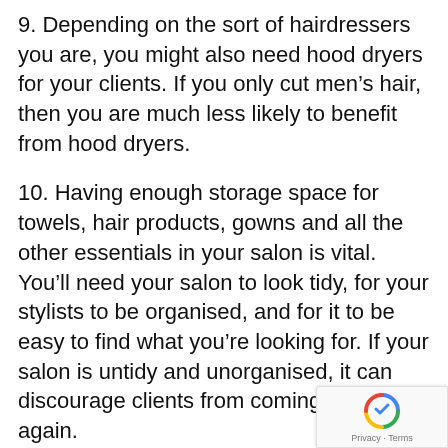9. Depending on the sort of hairdressers you are, you might also need hood dryers for your clients. If you only cut men's hair, then you are much less likely to benefit from hood dryers.
10. Having enough storage space for towels, hair products, gowns and all the other essentials in your salon is vital. You'll need your salon to look tidy, for your stylists to be organised, and for it to be easy to find what you're looking for. If your salon is untidy and unorganised, it can discourage clients from coming back again.
Discover a wide range of Hairdressing Equipment, including styling areas, wash areas, hood dryers, reception furniture and